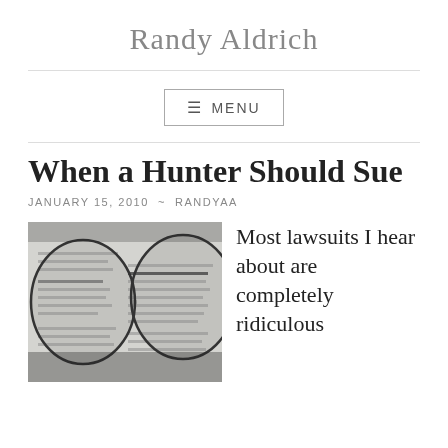Randy Aldrich
≡ MENU
When a Hunter Should Sue
JANUARY 15, 2010 ~ RANDYAA
[Figure (photo): Close-up photograph of a dictionary page showing the definition of 'vision', viewed through eyeglasses lenses in black and white]
Most lawsuits I hear about are completely ridiculous